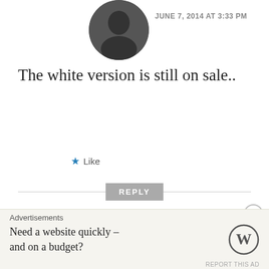[Figure (photo): Round avatar photo of a person in dark clothing, partially visible at top]
JUNE 7, 2014 AT 3:33 PM
The white version is still on sale..
★ Like
REPLY
[Figure (logo): Purple WordPress-style plus/grid icon avatar for user varma]
varma
JUNE 7, 2014 AT 5:32 PM
Its out of stock both white and black
Advertisements
Need a website quickly – and on a budget?
[Figure (logo): WordPress W logo circle]